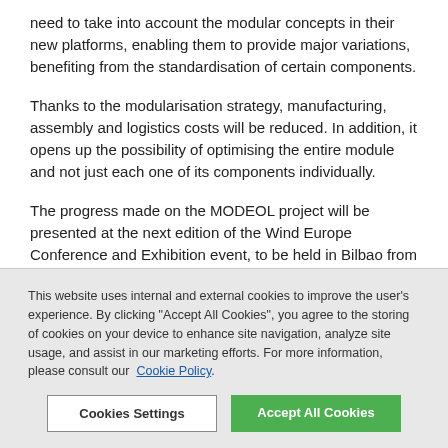need to take into account the modular concepts in their new platforms, enabling them to provide major variations, benefiting from the standardisation of certain components.
Thanks to the modularisation strategy, manufacturing, assembly and logistics costs will be reduced. In addition, it opens up the possibility of optimising the entire module and not just each one of its components individually.
The progress made on the MODEOL project will be presented at the next edition of the Wind Europe Conference and Exhibition event, to be held in Bilbao from 2 to 4 April.
This website uses internal and external cookies to improve the user's experience. By clicking "Accept All Cookies", you agree to the storing of cookies on your device to enhance site navigation, analyze site usage, and assist in our marketing efforts. For more information, please consult our Cookie Policy.